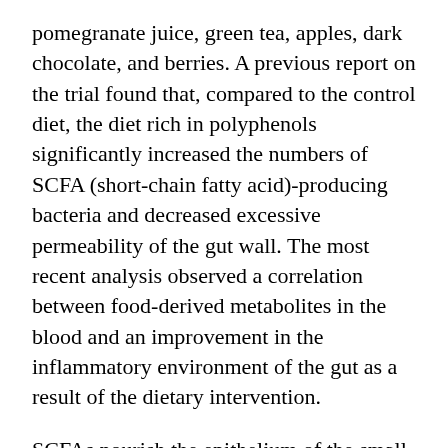pomegranate juice, green tea, apples, dark chocolate, and berries. A previous report on the trial found that, compared to the control diet, the diet rich in polyphenols significantly increased the numbers of SCFA (short-chain fatty acid)-producing bacteria and decreased excessive permeability of the gut wall. The most recent analysis observed a correlation between food-derived metabolites in the blood and an improvement in the inflammatory environment of the gut as a result of the dietary intervention.
SCFAs nourish the epithelium of the small and large intestines and play a large role in regulating the immune system. In addition, increased permeability of the gut barrier is concretely regarded as a major contributor to the development of autoimmunity. This is primarily due to a leaky gut allowing for systemic inflammation to be ignited by way of